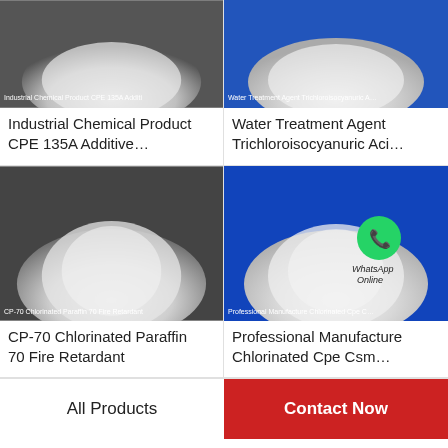[Figure (photo): White powder heap on dark background — Industrial Chemical Product CPE 135A Additive]
Industrial Chemical Product CPE 135A Additive…
[Figure (photo): White powder heap on blue background — Water Treatment Agent Trichloroisocyanuric Acid]
Water Treatment Agent Trichloroisocyanuric Aci…
[Figure (photo): White powder heap on dark background — CP-70 Chlorinated Paraffin 70 Fire Retardant]
CP-70 Chlorinated Paraffin 70 Fire Retardant
[Figure (photo): White powder heap on blue background with WhatsApp Online overlay — Professional Manufacture Chlorinated Cpe Csm]
Professional Manufacture Chlorinated Cpe Csm…
All Products
Contact Now